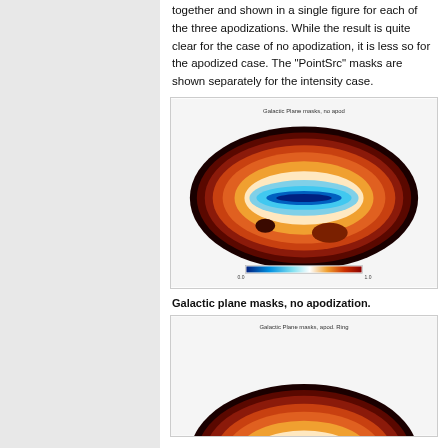together and shown in a single figure for each of the three apodizations. While the result is quite clear for the case of no apodization, it is less so for the apodized case. The "PointSrc" masks are shown separately for the intensity case.
[Figure (map): Galactic plane mask map with no apodization — Mollweide projection sky map showing galactic plane masks in a blue-to-red color scale. Title reads 'Galactic Plane masks, no apod'. A color bar at the bottom runs from blue (~0.0) to red (~1.0).]
Galactic plane masks, no apodization.
[Figure (map): Galactic plane mask map with apodization — partial Mollweide projection sky map (top portion visible), title reads 'Galactic Plane masks, apod. Ring'. Shows similar color scheme with dark brown/red and orange tones at top.]